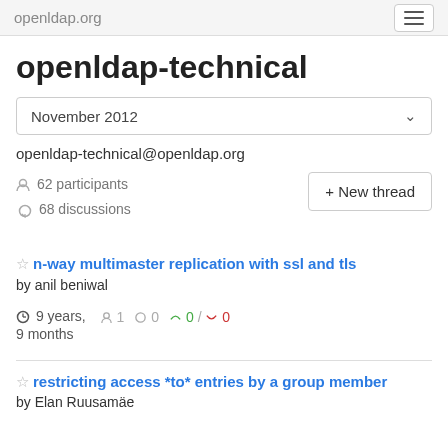openldap.org
openldap-technical
November 2012
openldap-technical@openldap.org
62 participants
68 discussions
+ New thread
n-way multimaster replication with ssl and tls
by anil beniwal
9 years, 9 months   1   0   0 / 0
restricting access *to* entries by a group member
by Elan Ruusamäe